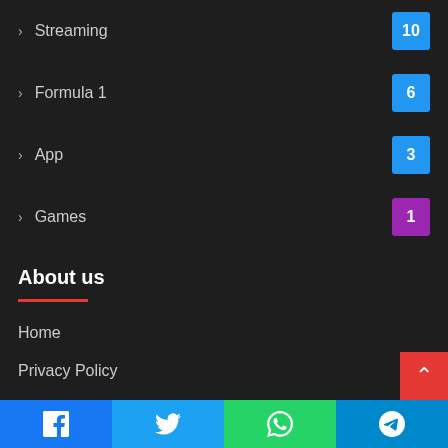Streaming 10
Formula 1 6
App 3
Games 1
About us
Home
Privacy Policy
About US
Contact Us
BEST VIEWED
Facebook | Twitter | WhatsApp | Telegram